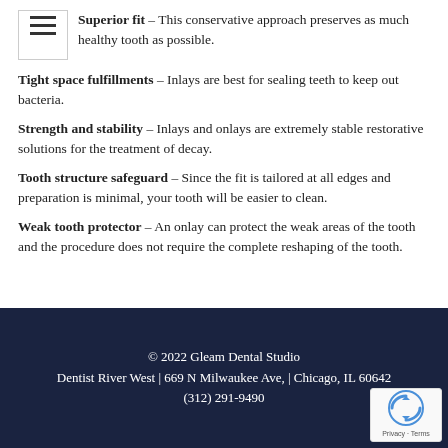Superior fit – This conservative approach preserves as much healthy tooth as possible.
Tight space fulfillments – Inlays are best for sealing teeth to keep out bacteria.
Strength and stability – Inlays and onlays are extremely stable restorative solutions for the treatment of decay.
Tooth structure safeguard – Since the fit is tailored at all edges and preparation is minimal, your tooth will be easier to clean.
Weak tooth protector – An onlay can protect the weak areas of the tooth and the procedure does not require the complete reshaping of the tooth.
© 2022 Gleam Dental Studio
Dentist River West | 669 N Milwaukee Ave, | Chicago, IL 60642
(312) 291-9490